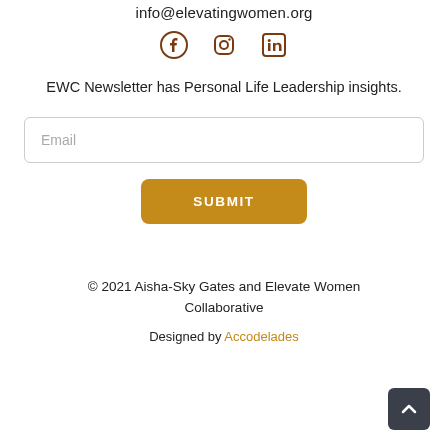info@elevatingwomen.org
[Figure (other): Social media icons: Facebook, Instagram, LinkedIn in dark brown]
EWC Newsletter has Personal Life Leadership insights.
Email (input field placeholder)
SUBMIT (button)
© 2021 Aisha-Sky Gates and Elevate Women Collaborative
Designed by Accodelades